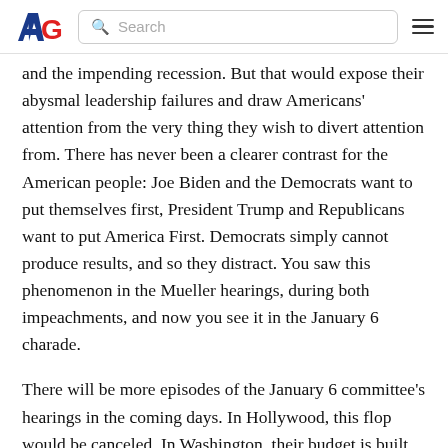AG [logo] Search [hamburger menu]
and the impending recession. But that would expose their abysmal leadership failures and draw Americans' attention from the very thing they wish to divert attention from. There has never been a clearer contrast for the American people: Joe Biden and the Democrats want to put themselves first, President Trump and Republicans want to put America First. Democrats simply cannot produce results, and so they distract. You saw this phenomenon in the Mueller hearings, during both impeachments, and now you see it in the January 6 charade.
There will be more episodes of the January 6 committee's hearings in the coming days. In Hollywood, this flop would be canceled. In Washington, their budget is built with your money, so expect more of the same. Each